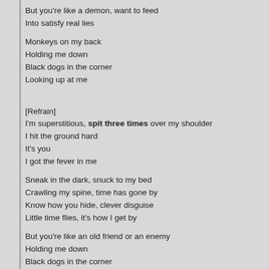But you're like a demon, want to feed
Into satisfy real lies
Monkeys on my back
Holding me down
Black dogs in the corner
Looking up at me
[Refrain]
I'm superstitious, spit three times over my shoulder
I hit the ground hard
It's you
I got the fever in me
Sneak in the dark, snuck to my bed
Crawling my spine, time has gone by
Know how you hide, clever disguise
Little time flies, it's how I get by
But you're like an old friend or an enemy
Holding me down
Black dogs in the corner
Looking up at me
[Refrain]